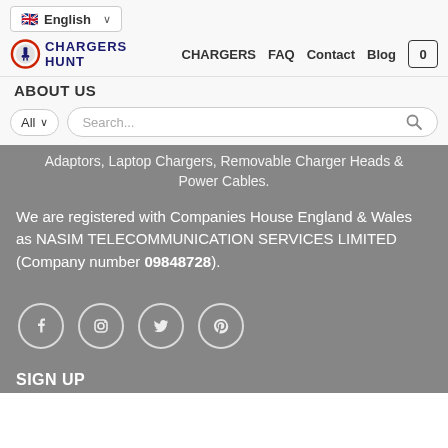English [language selector]
CHARGERS HUNT — CHARGERS | FAQ | Contact | Blog | Cart [0]
ABOUT US
Adaptors, Laptop Chargers, Removable Charger Heads & Power Cables.
We are registered with Companies House England & Wales as NASIM TELECOMMUNICATION SERVICES LIMITED (Company number 09848728).
[Figure (illustration): Social media icons: Facebook, Instagram, Twitter, Pinterest — white outlined circles on grey background]
SIGN UP